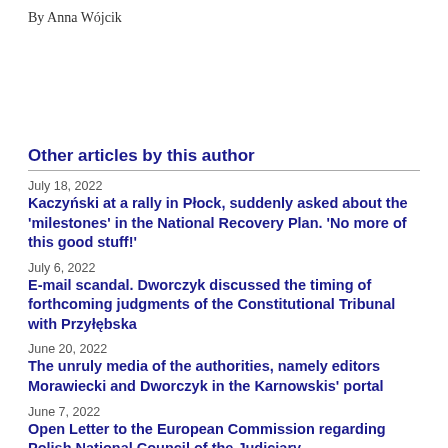By Anna Wójcik
Other articles by this author
July 18, 2022
Kaczyński at a rally in Płock, suddenly asked about the 'milestones' in the National Recovery Plan. 'No more of this good stuff!'
July 6, 2022
E-mail scandal. Dworczyk discussed the timing of forthcoming judgments of the Constitutional Tribunal with Przyłębska
June 20, 2022
The unruly media of the authorities, namely editors Morawiecki and Dworczyk in the Karnowskis' portal
June 7, 2022
Open Letter to the European Commission regarding Polish National Council of the Judiciary